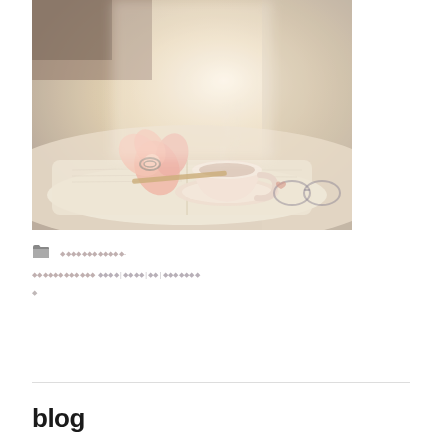[Figure (photo): A steaming cup of tea on a saucer placed on an open book, with a pink flower beside it and glasses nearby, soft warm lighting]
◆◆◆◆◆◆◆◆◆◆◆◆- ◆◆◆◆◆◆◆◆◆◆◆◆ ◆◆◆◆ | ◆◆◆◆ | ◆◆ | ◆◆◆◆◆◆◆ ◆
blog